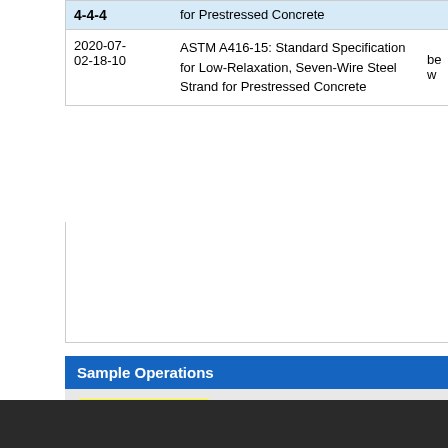| Date | Description |  |
| --- | --- | --- |
|  | for Prestressed Concrete |  |
| 2020-07-02-18-10 | ASTM A416-15: Standard Specification for Low-Relaxation, Seven-Wire Steel Strand for Prestressed Concrete | bew |
Sample Operations
View Sample Detail
Print Sample Report
TL-101